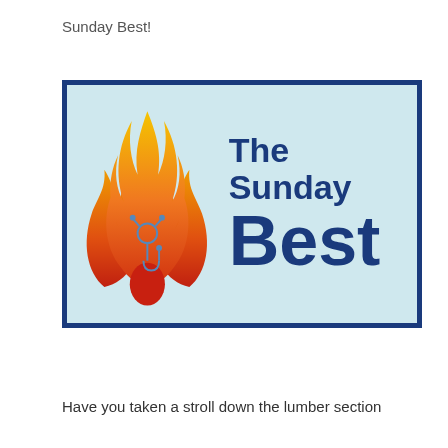Sunday Best!
[Figure (logo): The Sunday Best logo: flame graphic on the left with a stethoscope, and bold dark blue text 'The Sunday Best' on a light blue background with dark blue border]
Have you taken a stroll down the lumber section